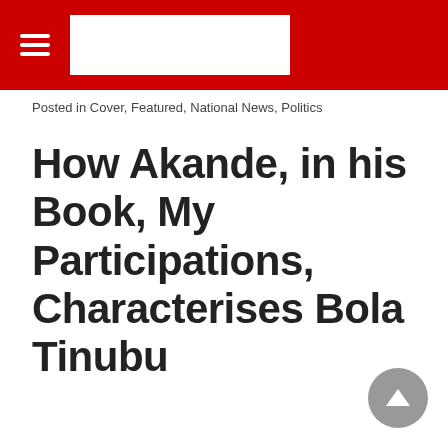Navigation header with hamburger menu and logo
Posted in Cover, Featured, National News, Politics
How Akande, in his Book, My Participations, Characterises Bola Tinubu